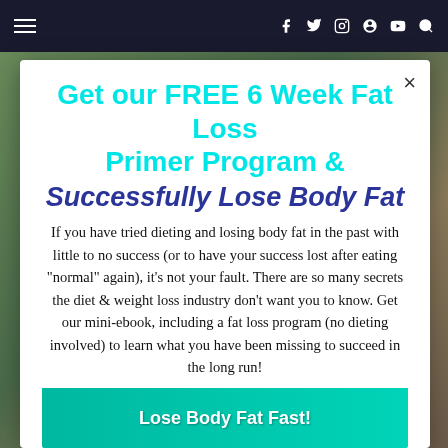≡   f  t  ⊙  ⊕  ▶  🔍
Get our FREE 6 Week Fat Loss Primer Program & Successfully Lose Body Fat
If you have tried dieting and losing body fat in the past with little to no success (or to have your success lost after eating "normal" again), it's not your fault. There are so many secrets the diet & weight loss industry don't want you to know. Get our mini-ebook, including a fat loss program (no dieting involved) to learn what you have been missing to succeed in the long run!
[Figure (photo): Book cover showing 'Lose Body Fat Fast!' with a person, displayed at the bottom of the modal]